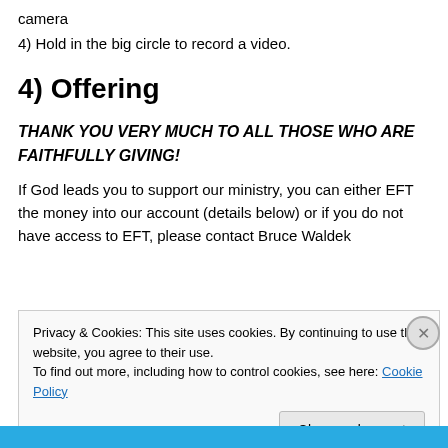camera
4) Hold in the big circle to record a video.
4) Offering
THANK YOU VERY MUCH TO ALL THOSE WHO ARE FAITHFULLY GIVING!
If God leads you to support our ministry, you can either EFT the money into our account (details below) or if you do not have access to EFT, please contact Bruce Waldek
Privacy & Cookies: This site uses cookies. By continuing to use this website, you agree to their use.
To find out more, including how to control cookies, see here: Cookie Policy
Close and accept